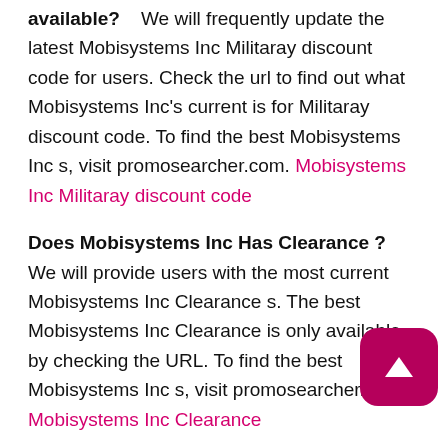available?   We will frequently update the latest Mobisystems Inc Militaray discount code for users. Check the url to find out what Mobisystems Inc's current is for Militaray discount code. To find the best Mobisystems Inc s, visit promosearcher.com. Mobisystems Inc Militaray discount code
Does Mobisystems Inc Has Clearance ?   We will provide users with the most current Mobisystems Inc Clearance s. The best Mobisystems Inc Clearance is only available by checking the URL. To find the best Mobisystems Inc s, visit promosearcher.com. Mobisystems Inc Clearance
Does Mobisystems Inc Offer Student discount